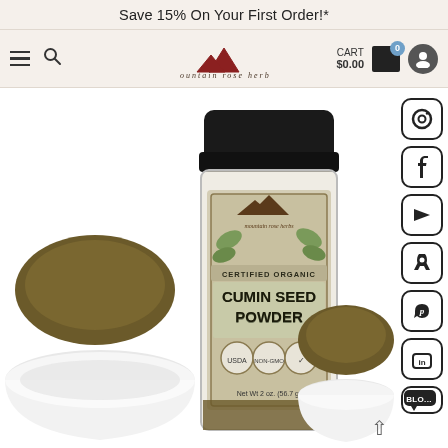Save 15% On Your First Order!*
[Figure (logo): Mountain Rose Herbs logo with mountain silhouette and brand name]
CART $0.00
[Figure (photo): Mountain Rose Herbs Certified Organic Cumin Seed Powder 2 oz (56.7g) glass spice jar with black lid, shown with white bowls of cumin powder on white background]